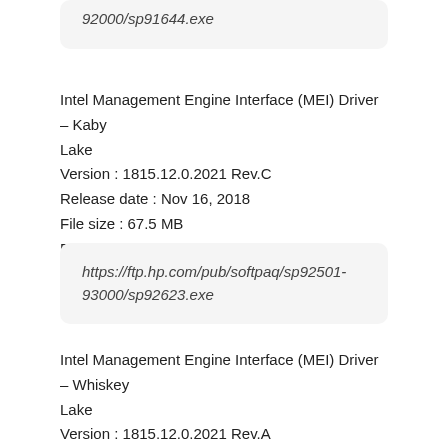92000/sp91644.exe
Intel Management Engine Interface (MEI) Driver – Kaby Lake
Version : 1815.12.0.2021 Rev.C
Release date : Nov 16, 2018
File size : 67.5 MB
File name : sp92623.exe
https://ftp.hp.com/pub/softpaq/sp92501-93000/sp92623.exe
Intel Management Engine Interface (MEI) Driver – Whiskey Lake
Version : 1815.12.0.2021 Rev.A
Release date : Aug 31, 2018